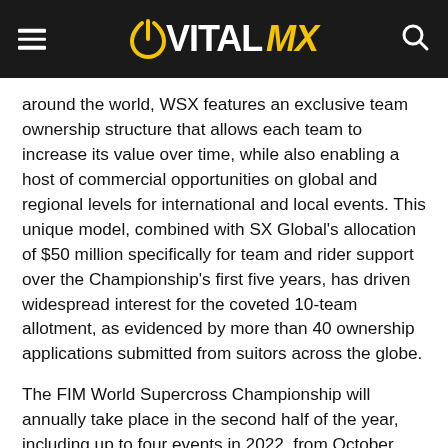VITAL MX
around the world, WSX features an exclusive team ownership structure that allows each team to increase its value over time, while also enabling a host of commercial opportunities on global and regional levels for international and local events. This unique model, combined with SX Global's allocation of $50 million specifically for team and rider support over the Championship's first five years, has driven widespread interest for the coveted 10-team allotment, as evidenced by more than 40 ownership applications submitted from suitors across the globe.
The FIM World Supercross Championship will annually take place in the second half of the year, including up to four events in 2022, from October through November. 2022 will serve as a “pilot” season, allowing the Championship to establish itself and build momentum going into 2023. 2023, and subsequent years, will see the FIM World Supercross Championship expand annually between June and November, with up to twelve events in 2023.